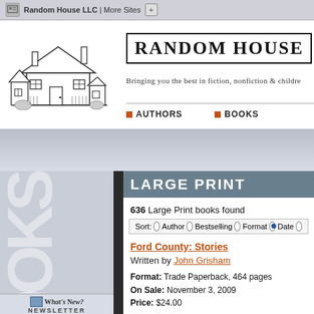Random House LLC | More Sites
RANDOM HOUSE
Bringing you the best in fiction, nonfiction & children
AUTHORS   BOOKS
LARGE PRINT
636 Large Print books found
Sort: Author  Bestselling  Format  Date
Ford County: Stories
Written by John Grisham
Format: Trade Paperback, 464 pages
On Sale: November 3, 2009
Price: $24.00
What's New? NEWSLETTER